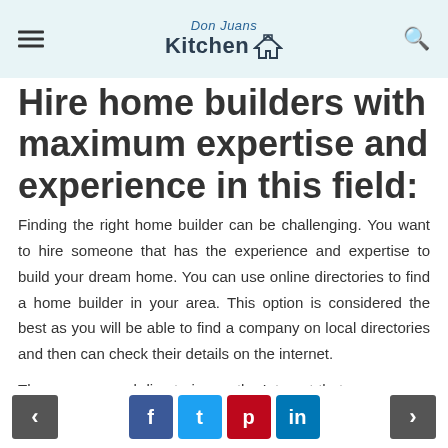Don Juans Kitchen
Hire home builders with maximum expertise and experience in this field:
Finding the right home builder can be challenging. You want to hire someone that has the experience and expertise to build your dream home. You can use online directories to find a home builder in your area. This option is considered the best as you will be able to find a company on local directories and then can check their details on the internet.
There are several directories on the Internet that you can use to find a good home builder in Pakenham. There are also some search engines that allow you to enter
< f t p in >